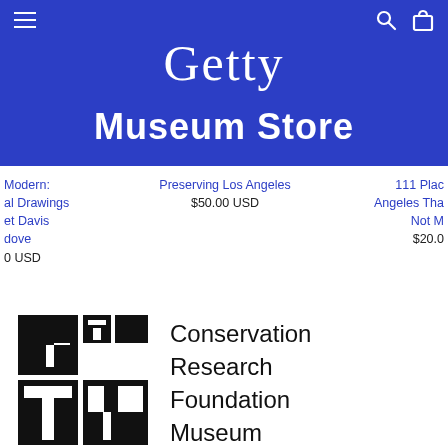Getty
Museum Store
Modern: al Drawings et Davis dove 0 USD
Preserving Los Angeles $50.00 USD
111 Plac Angeles Tha Not M $20.00
[Figure (logo): Getty Conservation Research Foundation Museum logo — black geometric block letterform spelling GETTY]
Conservation Research Foundation Museum